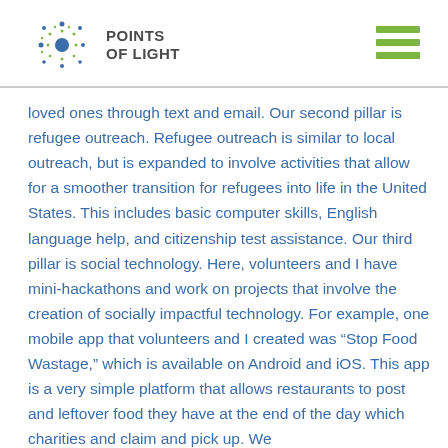POINTS OF LIGHT
loved ones through text and email. Our second pillar is refugee outreach. Refugee outreach is similar to local outreach, but is expanded to involve activities that allow for a smoother transition for refugees into life in the United States. This includes basic computer skills, English language help, and citizenship test assistance. Our third pillar is social technology. Here, volunteers and I have mini-hackathons and work on projects that involve the creation of socially impactful technology. For example, one mobile app that volunteers and I created was “Stop Food Wastage,” which is available on Android and iOS. This app is a very simple platform that allows restaurants to post and leftover food they have at the end of the day which charities and claim and pick up. We